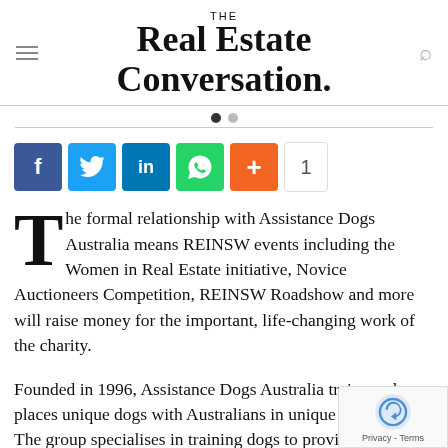THE Real Estate Conversation.
[Figure (infographic): Social share buttons: Facebook, Twitter, LinkedIn, WhatsApp, More (+), and share count of 1]
The formal relationship with Assistance Dogs Australia means REINSW events including the Women in Real Estate initiative, Novice Auctioneers Competition, REINSW Roadshow and more will raise money for the important, life-changing work of the charity.
Founded in 1996, Assistance Dogs Australia trains and places unique dogs with Australians in unique situations. The group specialises in training dogs to provide support for people with a physical disability, autism or post-traumatic stress disorder, as well as providing a range of